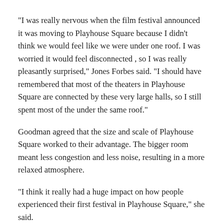“I was really nervous when the film festival announced it was moving to Playhouse Square because I didn’t think we would feel like we were under one roof. I was worried it would feel disconnected , so I was really pleasantly surprised,” Jones Forbes said. “I should have remembered that most of the theaters in Playhouse Square are connected by these very large halls, so I still spent most of the under the same roof.”
Goodman agreed that the size and scale of Playhouse Square worked to their advantage. The bigger room meant less congestion and less noise, resulting in a more relaxed atmosphere.
“I think it really had a huge impact on how people experienced their first festival in Playhouse Square,” she said.
Jones Forbes, who works as a marketing director for Northwest Neighborhoods CDC (a CIFF partner that helped raise some awareness for this year’s festival), said one area the festival could improve next year might be be cheaper food options inside the site. Although he dined at nearby restaurants like Sittoo’s, quick and